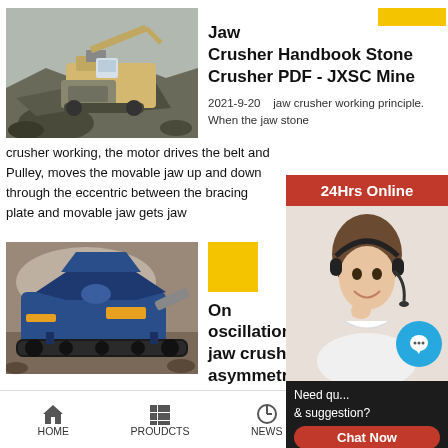[Figure (photo): Jaw crusher machine working outdoors at a quarry/mine site, rocks and debris visible]
Jaw Crusher Handbook Stone Crusher PDF - JXSC Mine
2021-9-20   jaw crusher working principle. When the jaw stone crusher working, the motor drives the belt and Pulley, moves the movable jaw up and down through the eccentric between the bracing plate and movable jaw gets jaw
[Figure (photo): Blue jaw crusher machine on tracks at a mining/quarry site]
On oscillations of jaw crusher with asymmetric ..
24Hrs Online
Need qu... & suggestion?
Chat Now
Enquiry
limingjlmofen
HOME   PROUDCTS   NEWS